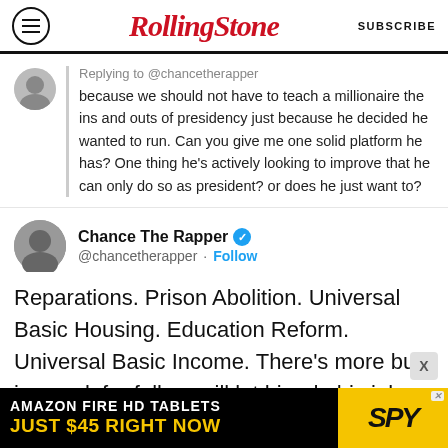Rolling Stone — SUBSCRIBE
Replying to @chancetherapper
because we should not have to teach a millionaire the ins and outs of presidency just because he decided he wanted to run. Can you give me one solid platform he has? One thing he's actively looking to improve that he can only do so as president? or does he just want to?
Chance The Rapper @chancetherapper · Follow
Reparations. Prison Abolition. Universal Basic Housing. Education Reform. Universal Basic Income. There's more but ion work for folks so ill let him do his job. Just saying we been doing this thing the same way for a long time. Can a blck man
[Figure (other): Amazon Fire HD Tablets advertisement banner — AMAZON FIRE HD TABLETS / JUST $45 RIGHT NOW / SPY logo in yellow]
AMAZON FIRE HD TABLETS JUST $45 RIGHT NOW